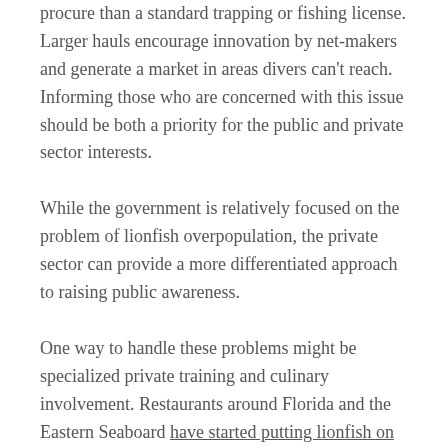procure than a standard trapping or fishing license. Larger hauls encourage innovation by net-makers and generate a market in areas divers can't reach. Informing those who are concerned with this issue should be both a priority for the public and private sector interests.
While the government is relatively focused on the problem of lionfish overpopulation, the private sector can provide a more differentiated approach to raising public awareness.
One way to handle these problems might be specialized private training and culinary involvement. Restaurants around Florida and the Eastern Seaboard have started putting lionfish on the menu. Stations like these could strongly benefit from lower